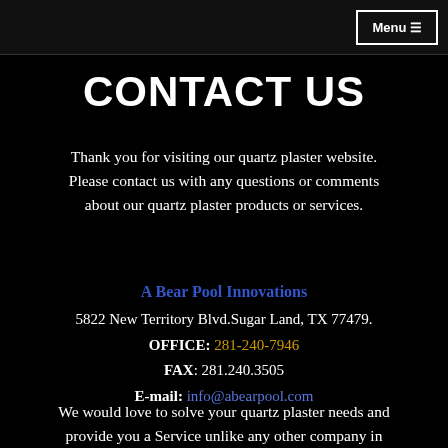Menu ≡
CONTACT US
Thank you for visiting our quartz plaster website. Please contact us with any questions or comments about our quartz plaster products or services.
A Bear Pool Innovations
5822 New Territory Blvd.Sugar Land, TX 77479.
OFFICE: 281-240-7946
FAX: 281.240.3505
E-mail: info@abearpool.com
We would love to solve your quartz plaster needs and provide you a Service unlike any other company in